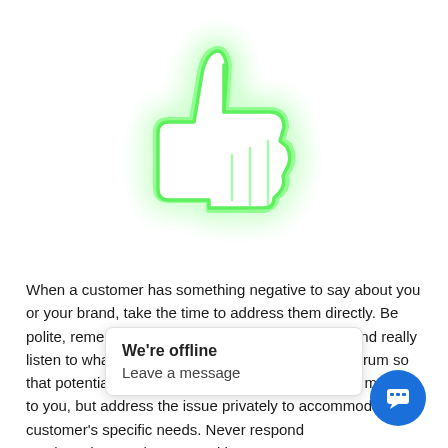[Figure (illustration): A glowing green neon thumbs-up icon on a white background, with a bright green glow/halo effect around the outlined thumb silhouette.]
When a customer has something negative to say about you or your brand, take the time to address them directly. Be polite, remember that your reputation is at stake, and really listen to what is being said. Apologize in a public forum so that potential customers know that your customers matter to you, but address the issue privately to accommodate the customer's specific needs. Never respo[nd…]ou[r…] show that you have a positi[ve…]
We're offline
Leave a message
Never counterattack a bad review.